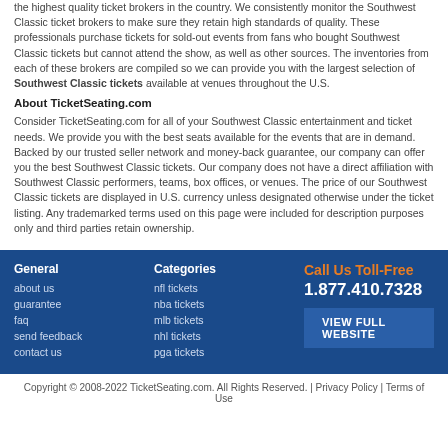the highest quality ticket brokers in the country. We consistently monitor the Southwest Classic ticket brokers to make sure they retain high standards of quality. These professionals purchase tickets for sold-out events from fans who bought Southwest Classic tickets but cannot attend the show, as well as other sources. The inventories from each of these brokers are compiled so we can provide you with the largest selection of Southwest Classic tickets available at venues throughout the U.S.
About TicketSeating.com
Consider TicketSeating.com for all of your Southwest Classic entertainment and ticket needs. We provide you with the best seats available for the events that are in demand. Backed by our trusted seller network and money-back guarantee, our company can offer you the best Southwest Classic tickets. Our company does not have a direct affiliation with Southwest Classic performers, teams, box offices, or venues. The price of our Southwest Classic tickets are displayed in U.S. currency unless designated otherwise under the ticket listing. Any trademarked terms used on this page were included for description purposes only and third parties retain ownership.
General
about us
guarantee
faq
send feedback
contact us
Categories
nfl tickets
nba tickets
mlb tickets
nhl tickets
pga tickets
Call Us Toll-Free
1.877.410.7328
VIEW FULL WEBSITE
Copyright © 2008-2022 TicketSeating.com. All Rights Reserved. | Privacy Policy | Terms of Use